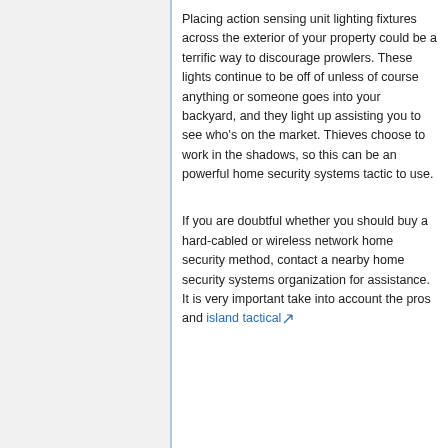Placing action sensing unit lighting fixtures across the exterior of your property could be a terrific way to discourage prowlers. These lights continue to be off of unless of course anything or someone goes into your backyard, and they light up assisting you to see who's on the market. Thieves choose to work in the shadows, so this can be an powerful home security systems tactic to use.
If you are doubtful whether you should buy a hard-cabled or wireless network home security method, contact a nearby home security systems organization for assistance. It is very important take into account the pros and island tactical